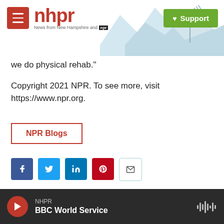nhpr — News from New Hampshire and NPR | Support
we do physical rehab."
Copyright 2021 NPR. To see more, visit https://www.npr.org.
NPR Blogs
[Figure (infographic): Social sharing icons: Facebook, Twitter, LinkedIn, Pinterest, Email]
Thomas Andrew Gustafson
NHPR | BBC World Service